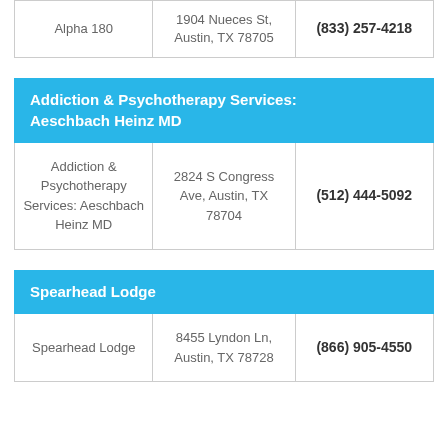| Name | Address | Phone |
| --- | --- | --- |
| Alpha 180 | 1904 Nueces St, Austin, TX 78705 | (833) 257-4218 |
Addiction & Psychotherapy Services: Aeschbach Heinz MD
| Name | Address | Phone |
| --- | --- | --- |
| Addiction & Psychotherapy Services: Aeschbach Heinz MD | 2824 S Congress Ave, Austin, TX 78704 | (512) 444-5092 |
Spearhead Lodge
| Name | Address | Phone |
| --- | --- | --- |
| Spearhead Lodge | 8455 Lyndon Ln, Austin, TX 78728 | (866) 905-4550 |